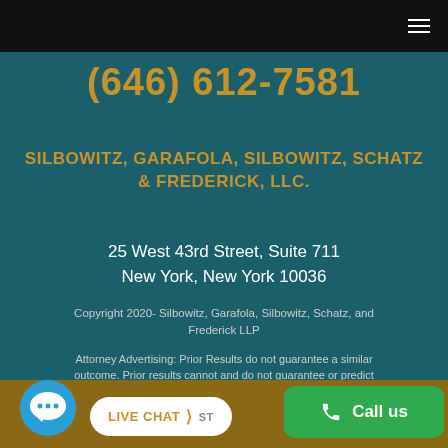(hamburger menu icon)
(646) 612-7581
SILBOWITZ, GARAFOLA, SILBOWITZ, SCHATZ & FREDERICK, LLC.
25 West 43rd Street, Suite 711
New York, New York 10036
Copyright 2020- Silbowitz, Garafola, Silbowitz, Schatz, and Frederick LLP
Attorney Advertising: Prior Results do not guarantee a similar outcome. Prior results cannot and do not guarantee or predict a similar outcome with respect to any future matter, including your, in which a lawyer or law firm may be retained.
[Figure (screenshot): Bottom bar with chat bubble icon, LIVE CHAT button, and green Call us button]